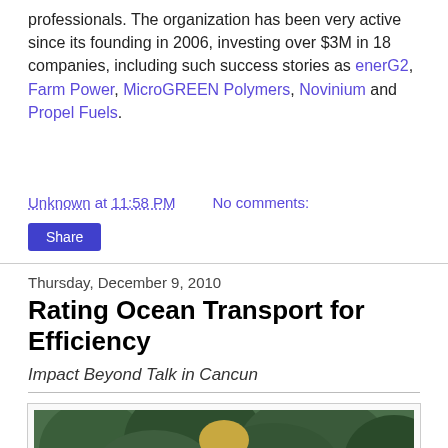professionals. The organization has been very active since its founding in 2006, investing over $3M in 18 companies, including such success stories as enerG2, Farm Power, MicroGREEN Polymers, Novinium and Propel Fuels.
Unknown at 11:58 PM    No comments:
Share
Thursday, December 9, 2010
Rating Ocean Transport for Efficiency
Impact Beyond Talk in Cancun
[Figure (photo): A man with long blonde hair holding a globe, standing in front of green trees/bushes]